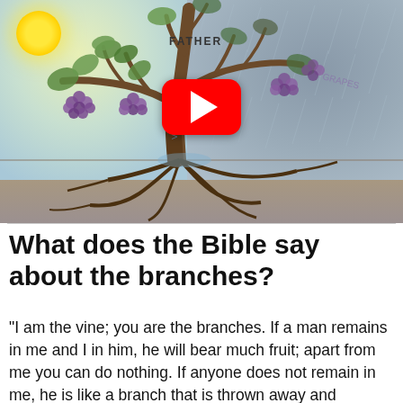[Figure (illustration): Hand-drawn illustration of a grapevine tree with roots visible underground. The left side shows sunshine and green leaves with purple grape clusters, labeled FATHER. The right side shows storm clouds and rain. A YouTube play button (red rectangle with white triangle) overlays the center of the image. The trunk has text on it.]
What does the Bible say about the branches?
“I am the vine; you are the branches. If a man remains in me and I in him, he will bear much fruit; apart from me you can do nothing. If anyone does not remain in me, he is like a branch that is thrown away and withers; such branches are picked up, thrown into the fire and burned.